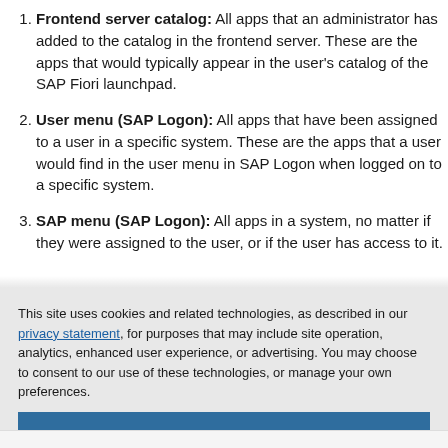Frontend server catalog: All apps that an administrator has added to the catalog in the frontend server. These are the apps that would typically appear in the user's catalog of the SAP Fiori launchpad.
User menu (SAP Logon): All apps that have been assigned to a user in a specific system. These are the apps that a user would find in the user menu in SAP Logon when logged on to a specific system.
SAP menu (SAP Logon): All apps in a system, no matter if they were assigned to the user, or if the user has access to it. They are the apps that are accessible within the SAP menu.
This site uses cookies and related technologies, as described in our privacy statement, for purposes that may include site operation, analytics, enhanced user experience, or advertising. You may choose to consent to our use of these technologies, or manage your own preferences.
Accept Cookies
More Information
Privacy Policy | Powered by: TrustArc
Recommended